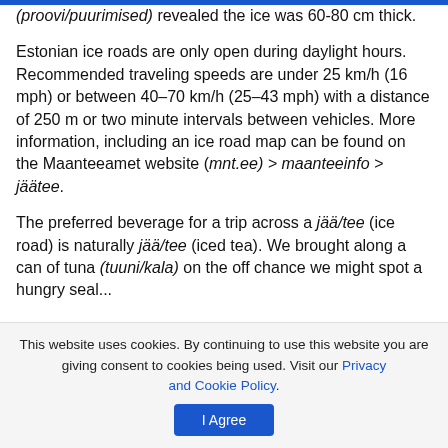(proovi/puurimised) revealed the ice was 60-80 cm thick.
Estonian ice roads are only open during daylight hours. Recommended traveling speeds are under 25 km/h (16 mph) or between 40–70 km/h (25–43 mph) with a distance of 250 m or two minute intervals between vehicles. More information, including an ice road map can be found on the Maanteeamet website (mnt.ee) > maanteeinfo > jäätee.
The preferred beverage for a trip across a jää/tee (ice road) is naturally jää/tee (iced tea). We brought along a can of tuna (tuuni/kala) on the off chance we might spot a hungry seal...
This website uses cookies. By continuing to use this website you are giving consent to cookies being used. Visit our Privacy and Cookie Policy.